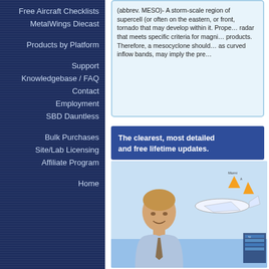Free Aircraft Checklists
MetalWings Diecast
Products by Platform
Support
Knowledgebase / FAQ
Contact
Employment
SBD Dauntless
Bulk Purchases
Site/Lab Licensing
Affiliate Program
Home
(abbrev. MESO)- A storm-scale region of... supercell (or often on the eastern, or front,... tornado that may develop within it. Prope... radar that meets specific criteria for magni... products. Therefore, a mesocyclone shoul... as curved inflow bands, may imply the pre...
The clearest, most detailed and free lifetime updates.
[Figure (photo): Young man in business casual attire smiling, holding materials, with airplane and weather diagram illustration behind him]